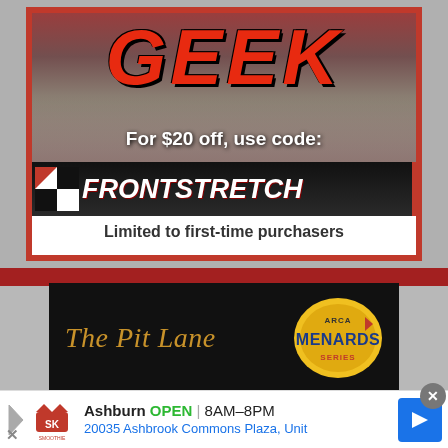[Figure (photo): Advertisement banner showing NASCAR fans in crowd with large red 'GEEK' text, promo code FRONTSTRETCH for $20 off, limited to first-time purchasers]
[Figure (logo): The Pit Lane ARCA Menards Series logo on black background]
[Figure (infographic): Smoothie King ad banner: Ashburn OPEN 8AM-8PM, 20035 Ashbrook Commons Plaza, Unit with navigation arrow button]